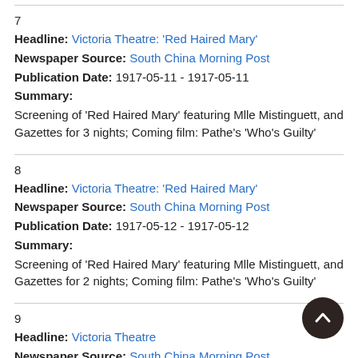7
Headline: Victoria Theatre: 'Red Haired Mary'
Newspaper Source: South China Morning Post
Publication Date: 1917-05-11 - 1917-05-11
Summary:
Screening of 'Red Haired Mary' featuring Mlle Mistinguett, and Gazettes for 3 nights; Coming film: Pathe's 'Who's Guilty'
8
Headline: Victoria Theatre: 'Red Haired Mary'
Newspaper Source: South China Morning Post
Publication Date: 1917-05-12 - 1917-05-12
Summary:
Screening of 'Red Haired Mary' featuring Mlle Mistinguett, and Gazettes for 2 nights; Coming film: Pathe's 'Who's Guilty'
9
Headline: Victoria Theatre
Newspaper Source: South China Morning Post